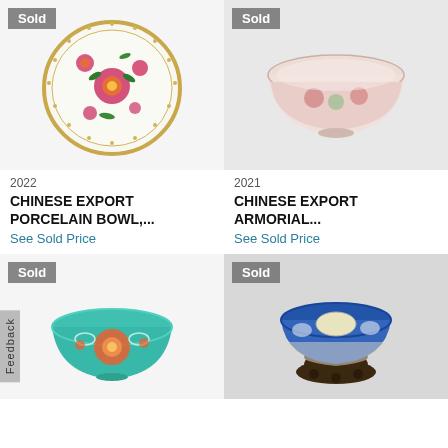[Figure (photo): Chinese export porcelain plate with floral decoration and gold rim, 'Sold' badge in top left corner]
[Figure (photo): Chinese export armorial porcelain bowl with decorative scenes, 'Sold' badge in top left corner]
2022
CHINESE EXPORT PORCELAIN BOWL,...
See Sold Price
2021
CHINESE EXPORT ARMORIAL...
See Sold Price
[Figure (photo): Chinese turquoise porcelain bowl with orange floral decoration, 'Sold' badge in top left corner]
[Figure (photo): Chinese blue and white porcelain bowl on carved wooden stand, 'Sold' badge in top left corner]